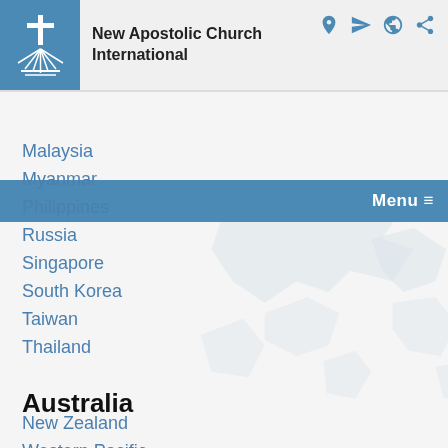New Apostolic Church International
Malaysia
Myanmar
Philippines
Russia
Singapore
South Korea
Taiwan
Thailand
Australia
New Zealand
Western Pacific
Europe
Austria